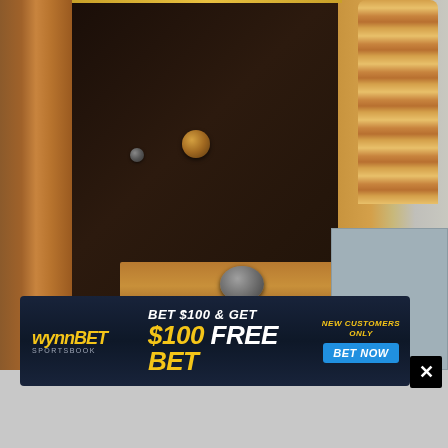[Figure (photo): Close-up photograph of what appears to be antique wooden furniture or equipment, showing dark wood panels, brass bolts/studs, a turned wooden post on the right, a wood strip with a round metal medallion, and a gray/blue panel at lower right.]
[Figure (infographic): WynnBET Sportsbook advertisement banner. Text reads: BET $100 & GET $100 FREE BET. NEW CUSTOMERS ONLY. BET NOW button. Dark blue background with yellow and white text.]